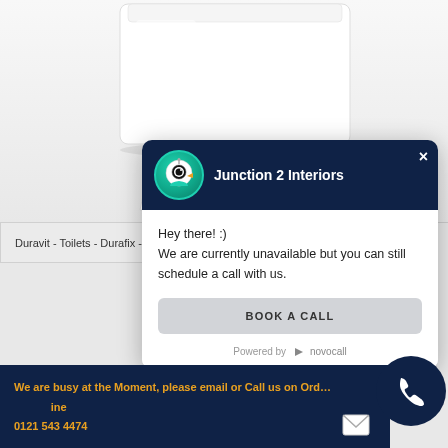[Figure (photo): White toilet/cistern product photo on light gray background]
Duravit - Toilets - Durafix - 251109
[Figure (screenshot): Chat popup widget from Junction 2 Interiors with novocall. Header shows robot avatar and brand name. Body says: Hey there! :) We are currently unavailable but you can still schedule a call with us. BOOK A CALL button. Powered by novocall.]
We are busy at the Moment, please email or Call us on Order Line 0121 543 4474